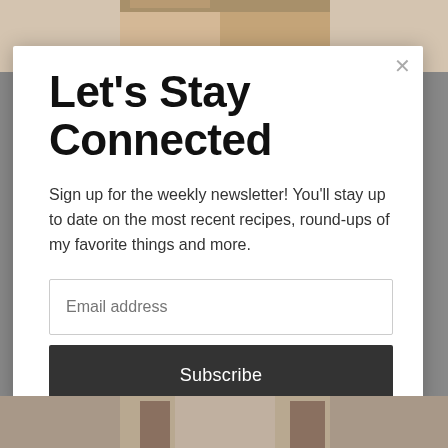[Figure (photo): Partial photo visible behind modal at top — two people faces close together, cropped]
Let's Stay Connected
Sign up for the weekly newsletter! You'll stay up to date on the most recent recipes, round-ups of my favorite things and more.
[Figure (screenshot): Email address input field with placeholder text 'Email address']
[Figure (screenshot): Subscribe button — dark background with white text 'Subscribe']
[Figure (photo): Partial photo visible behind modal at bottom — person standing indoors]